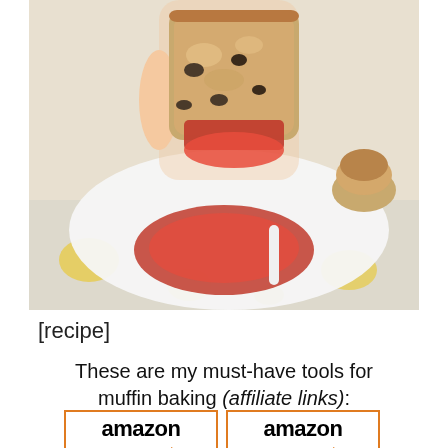[Figure (photo): A hand holding a savory muffin dipped into red tomato sauce, with a white bowl of sauce and more muffins in the background on a decorative plate.]
[recipe]
These are my must-have tools for muffin baking (affiliate links):
[Figure (logo): Two Amazon product listing boxes side by side with orange Amazon logo and arrow, showing baking product images below.]